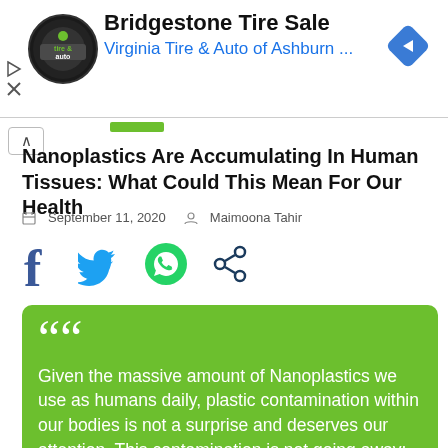[Figure (logo): Bridgestone / Virginia Tire & Auto advertisement banner with circular logo, title 'Bridgestone Tire Sale', subtitle 'Virginia Tire & Auto of Ashburn ...' and blue diamond navigation icon]
Nanoplastics Are Accumulating In Human Tissues: What Could This Mean For Our Health
September 11, 2020  Maimoona Tahir
[Figure (infographic): Social sharing icons: Facebook (f), Twitter (bird), WhatsApp (phone), Share (<)]
Given the massive amount of Nanoplastics we use as humans daily, plastic contamination within our bodies is not a surprise and deserves our attention. This contamination is not going away; on the contrary, it is growing continuously. It thus behooves us to find out where these polluting